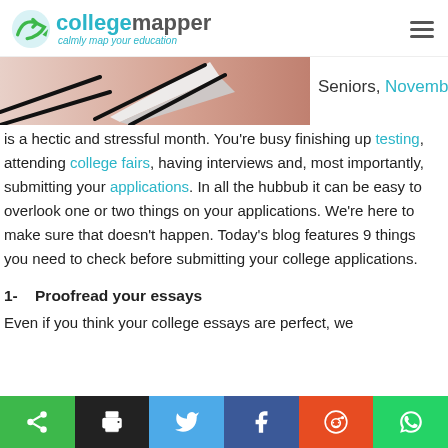collegemapper — calmly map your education
[Figure (photo): Partial hero image showing a pencil/arrow graphic with pink/peach blurred background]
Seniors, November is a hectic and stressful month. You're busy finishing up testing, attending college fairs, having interviews and, most importantly, submitting your applications. In all the hubbub it can be easy to overlook one or two things on your applications. We're here to make sure that doesn't happen. Today's blog features 9 things you need to check before submitting your college applications.
1-  Proofread your essays
Even if you think your college essays are perfect, we